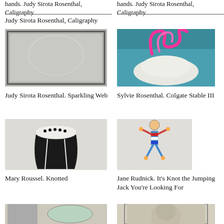hands. Judy Sirota Rosenthal, Caligraphy
hands. Judy Sirota Rosenthal, Caligraphy
[Figure (photo): Framed artwork appearing to show a faint figure or web-like pattern on light background]
Judy Sirota Rosenthal. Sparkling Web
[Figure (photo): Pink neon-like curly tubes on top of a white fabric or clay form against a teal background]
Sylvie Rosenthal. Colgate Stable III
[Figure (photo): Black and white knotted textile necklace/collar displayed on a mannequin bust]
Mary Roussel. Knotted
[Figure (photo): Colorful jumping jack figure artwork displayed vertically]
Jane Rudnick. It's Knot the Jumping Jack You're Looking For
[Figure (photo): Sculptural piece with teal/green fabric or clay form against artwork background]
[Figure (photo): Framed pencil or charcoal portrait drawing of a face]